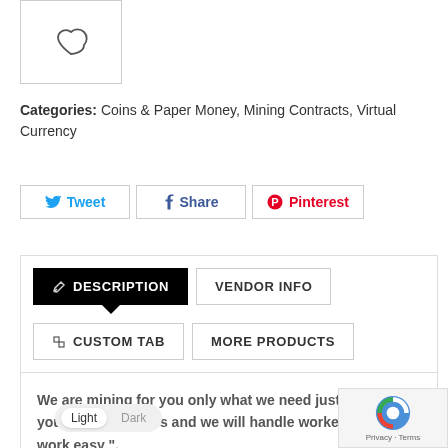[Figure (illustration): Wishlist heart icon inside a bordered box]
Categories: Coins & Paper Money, Mining Contracts, Virtual Currency
[Figure (other): Social sharing buttons: Tweet, Share, Pinterest]
DESCRIPTION | VENDOR INFO | CUSTOM TAB | MORE PRODUCTS tabs
We are mining for you only what we need just send to us your wallet address and we will handle worker and po... work easy".